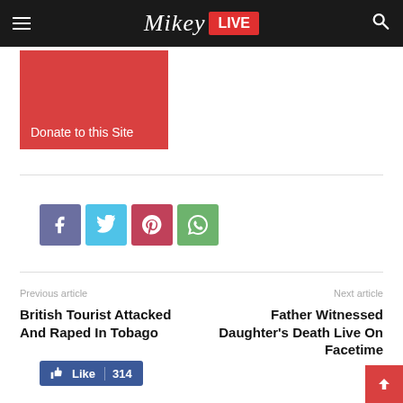Mikey LIVE
[Figure (screenshot): Red donate button/box with text 'Donate to this Site']
[Figure (infographic): Facebook Like button showing 314 likes, and four social share icons: Facebook, Twitter, Pinterest, WhatsApp]
Previous article
British Tourist Attacked And Raped In Tobago
Next article
Father Witnessed Daughter's Death Live On Facetime